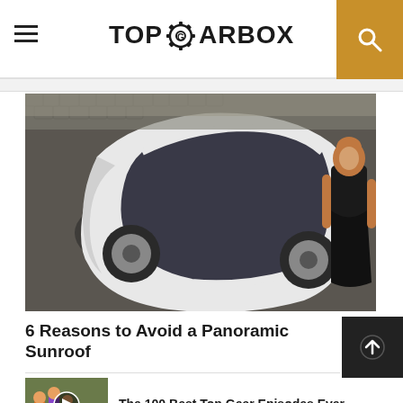TOPGEARBOX
[Figure (photo): Overhead view of a white concept car on cobblestone street with a woman in black dress standing next to it]
6 Reasons to Avoid a Panoramic Sunroof
[Figure (photo): Thumbnail image of people on street, with video play button overlay]
The 100 Best Top Gear Episodes Ever